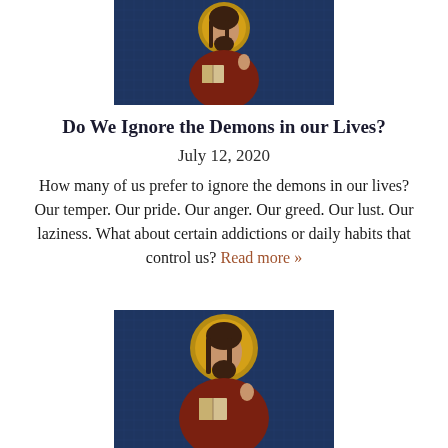[Figure (illustration): Orthodox icon of Christ Pantocrator holding an open book, gold halo, dark blue mosaic background, cropped at top showing head and torso]
Do We Ignore the Demons in our Lives?
July 12, 2020
How many of us prefer to ignore the demons in our lives? Our temper. Our pride. Our anger. Our greed. Our lust. Our laziness. What about certain addictions or daily habits that control us? Read more »
[Figure (illustration): Orthodox icon of Christ Pantocrator holding an open book, gold halo, dark blue mosaic background, showing upper body]